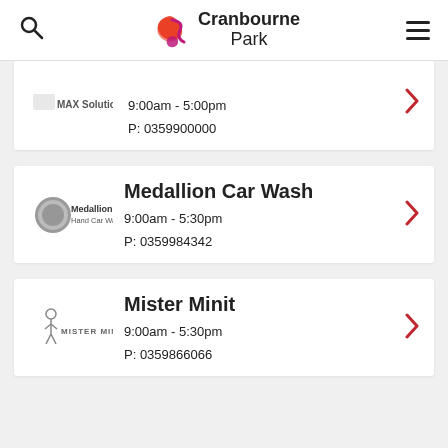Cranbourne Park
MAX Solutions
9:00am - 5:00pm
P: 0359900000
Medallion Car Wash
9:00am - 5:30pm
P: 0359984342
Mister Minit
9:00am - 5:30pm
P: 0359866066